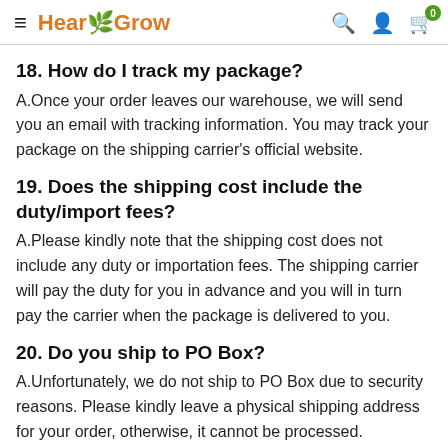HearGrow
18. How do I track my package?
A.Once your order leaves our warehouse, we will send you an email with tracking information. You may track your package on the shipping carrier's official website.
19. Does the shipping cost include the duty/import fees?
A.Please kindly note that the shipping cost does not include any duty or importation fees. The shipping carrier will pay the duty for you in advance and you will in turn pay the carrier when the package is delivered to you.
20. Do you ship to PO Box?
A.Unfortunately, we do not ship to PO Box due to security reasons. Please kindly leave a physical shipping address for your order, otherwise, it cannot be processed.